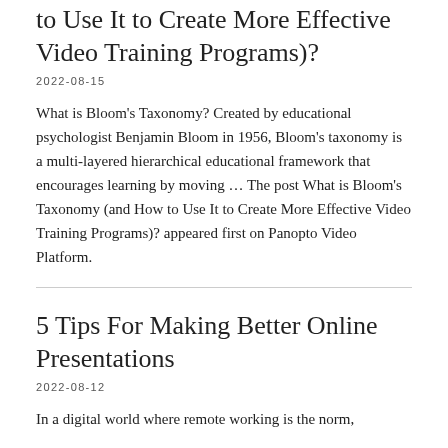to Use It to Create More Effective Video Training Programs)?
2022-08-15
What is Bloom's Taxonomy? Created by educational psychologist Benjamin Bloom in 1956, Bloom's taxonomy is a multi-layered hierarchical educational framework that encourages learning by moving … The post What is Bloom's Taxonomy (and How to Use It to Create More Effective Video Training Programs)? appeared first on Panopto Video Platform.
5 Tips For Making Better Online Presentations
2022-08-12
In a digital world where remote working is the norm,